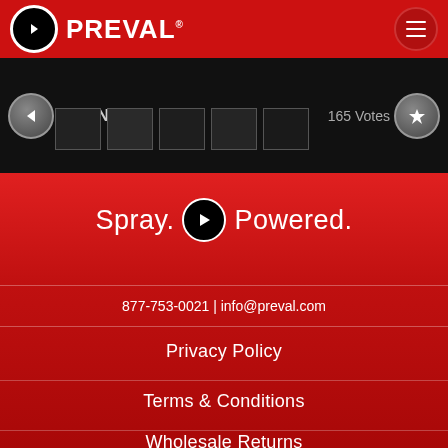Preval — navigation header with logo and hamburger menu
[Figure (screenshot): Black banner area with Buy Now button, thumbnail images, 165 Votes text, and a star/favorite button on the right]
Spray. Powered.
877-753-0021 | info@preval.com
Privacy Policy
Terms & Conditions
Wholesale Returns